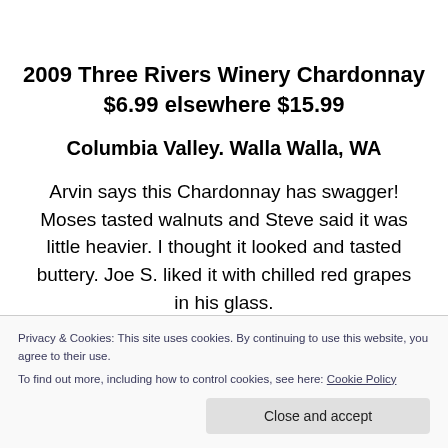2009 Three Rivers Winery Chardonnay $6.99 elsewhere $15.99
Columbia Valley. Walla Walla, WA
Arvin says this Chardonnay has swagger! Moses tasted walnuts and Steve said it was little heavier. I thought it looked and tasted buttery. Joe S. liked it with chilled red grapes in his glass.
Privacy & Cookies: This site uses cookies. By continuing to use this website, you agree to their use.
To find out more, including how to control cookies, see here: Cookie Policy
and nicely dry."